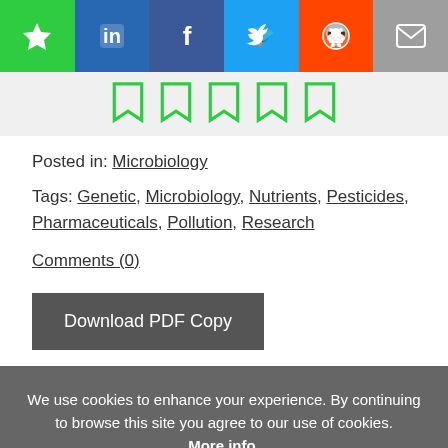[Figure (other): Social sharing bar with icons: star (green), LinkedIn (blue), Facebook (dark blue), Twitter (cyan), Reddit (orange), email (gray)]
[Figure (other): Row of five green bookmark outline icons on light gray background]
Posted in: Microbiology
Tags: Genetic, Microbiology, Nutrients, Pesticides, Pharmaceuticals, Pollution, Research
Comments (0)
Download PDF Copy
We use cookies to enhance your experience. By continuing to browse this site you agree to our use of cookies. More info.
✓ Accept   Cookie Settings